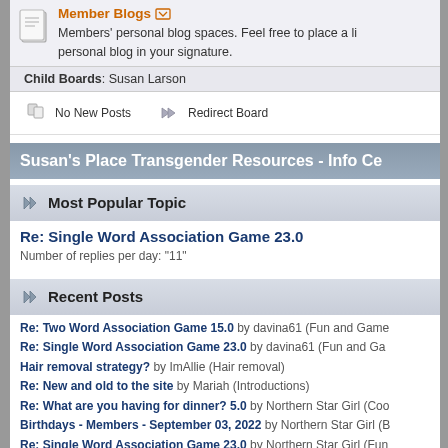Member Blogs
Members' personal blog spaces. Feel free to place a link to your personal blog in your signature.
Child Boards: Susan Larson
No New Posts   Redirect Board
Susan's Place Transgender Resources - Info Ce
Most Popular Topic
Re: Single Word Association Game 23.0
Number of replies per day: "11"
Recent Posts
Re: Two Word Association Game 15.0 by davina61 (Fun and Game
Re: Single Word Association Game 23.0 by davina61 (Fun and Ga
Hair removal strategy? by ImAllie (Hair removal)
Re: New and old to the site by Mariah (Introductions)
Re: What are you having for dinner? 5.0 by Northern Star Girl (Coo
Birthdays - Members - September 03, 2022 by Northern Star Girl (B
Re: Single Word Association Game 23.0 by Northern Star Girl (Fun